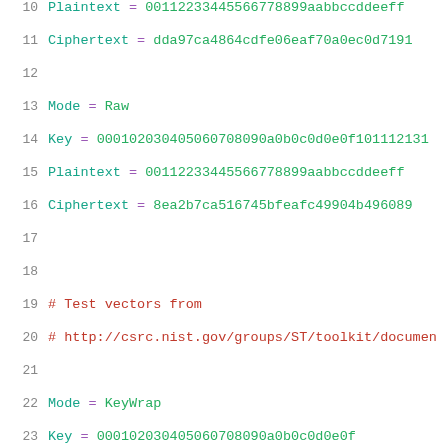10   Plaintext = 00112233445566778899aabbccddeeff
11   Ciphertext = dda97ca4864cdfe06eaf70a0ec0d7191
12
13   Mode = Raw
14   Key = 000102030405060708090a0b0c0d0e0f10111213...
15   Plaintext = 00112233445566778899aabbccddeeff
16   Ciphertext = 8ea2b7ca516745bfeafc49904b496089
17
18
19   # Test vectors from
20   # http://csrc.nist.gov/groups/ST/toolkit/documen...
21
22   Mode = KeyWrap
23   Key = 000102030405060708090a0b0c0d0e0f
24   Plaintext = 00112233445566778899aabbccddeeff
25   Ciphertext = 1fa68b0a8112b447aef34bd8fb5a7b829d...
26
27   Mode = KeyWrap
28   Key = 000102030405060708090a0b0c0d0e0f10111213...
29   Plaintext = 00112233445566778899aabbccddeeff
30   Ciphertext = 96778b25ae6ca435f92b5b97c050aed246...
31